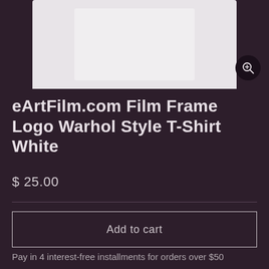[Figure (photo): White t-shirt product photo on a dark background with a zoom button in the bottom-right corner]
eArtFilm.com Film Frame Logo Warhol Style T-Shirt White
$ 25.00
Add to cart
Pay in 4 interest-free installments for orders over $50